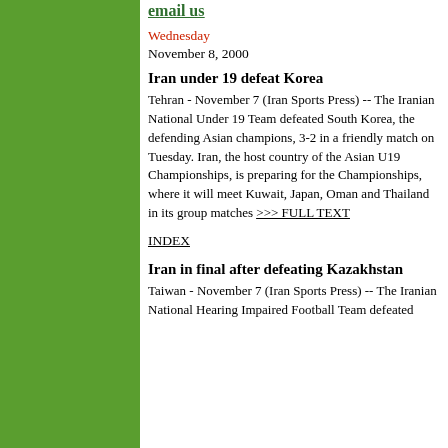[Figure (other): Green sidebar panel on left side of page]
email us
Wednesday
November 8, 2000
Iran under 19 defeat Korea
Tehran - November 7 (Iran Sports Press) -- The Iranian National Under 19 Team defeated South Korea, the defending Asian champions, 3-2 in a friendly match on Tuesday. Iran, the host country of the Asian U19 Championships, is preparing for the Championships, where it will meet Kuwait, Japan, Oman and Thailand in its group matches >>> FULL TEXT
INDEX
Iran in final after defeating Kazakhstan
Taiwan - November 7 (Iran Sports Press) -- The Iranian National Hearing Impaired Football Team defeated